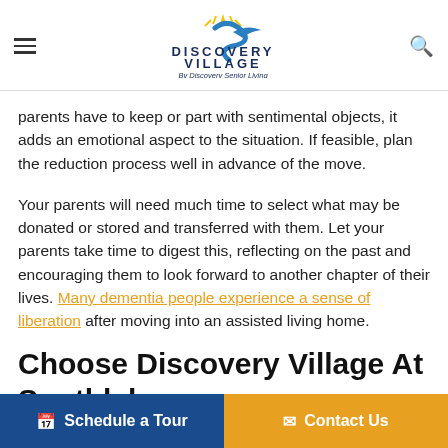Discovery Village By Discovery Senior Living
parents have to keep or part with sentimental objects, it adds an emotional aspect to the situation. If feasible, plan the reduction process well in advance of the move.
Your parents will need much time to select what may be donated or stored and transferred with them. Let your parents take time to digest this, reflecting on the past and encouraging them to look forward to another chapter of their lives. Many dementia people experience a sense of liberation after moving into an assisted living home.
Choose Discovery Village At Southlake
For seniors in...
Schedule a Tour   Contact Us